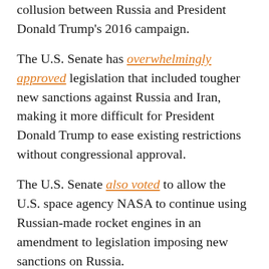collusion between Russia and President Donald Trump's 2016 campaign.
The U.S. Senate has overwhelmingly approved legislation that included tougher new sanctions against Russia and Iran, making it more difficult for President Donald Trump to ease existing restrictions without congressional approval.
The U.S. Senate also voted to allow the U.S. space agency NASA to continue using Russian-made rocket engines in an amendment to legislation imposing new sanctions on Russia.
Two Russian opposition figures from Aleksei Navalny's party asked for political asylum at the Ukrainian border on June 15, Ukraine's Border Guard Service said.